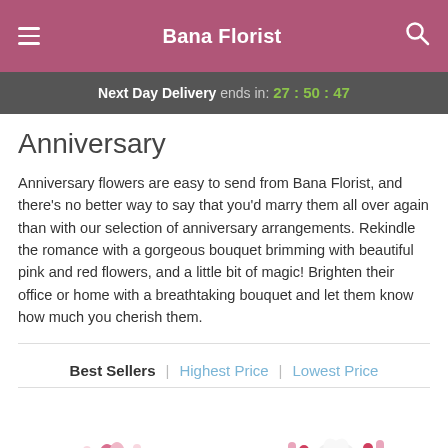Bana Florist
Next Day Delivery ends in: 27 : 50 : 47
Anniversary
Anniversary flowers are easy to send from Bana Florist, and there's no better way to say that you'd marry them all over again than with our selection of anniversary arrangements. Rekindle the romance with a gorgeous bouquet brimming with beautiful pink and red flowers, and a little bit of magic! Brighten their office or home with a breathtaking bouquet and let them know how much you cherish them.
Best Sellers | Highest Price | Lowest Price
[Figure (photo): Two bouquets of anniversary flowers partially visible at the bottom of the page: left shows pink tulips and mixed pink flowers, right shows white lilies and red and pink flowers.]